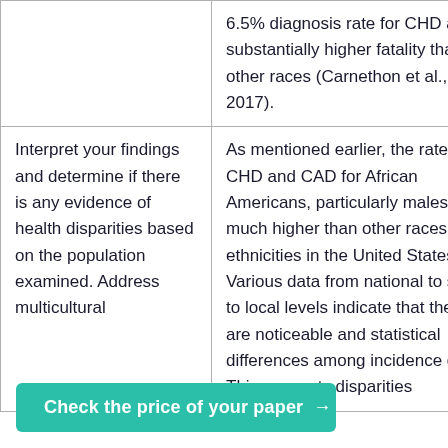|  | 6.5% diagnosis rate for CHD and a substantially higher fatality than other races (Carnethon et al., 2017). |
| Interpret your findings and determine if there is any evidence of health disparities based on the population examined. Address multicultural | As mentioned earlier, the rates for CHD and CAD for African Americans, particularly males, are much higher than other races and ethnicities in the United States. Various data from national to state to local levels indicate that there are noticeable and statistical differences among incidence [r]ces. This suggests [...]disparities |